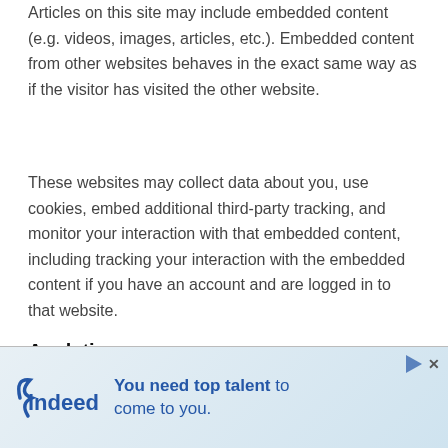Articles on this site may include embedded content (e.g. videos, images, articles, etc.). Embedded content from other websites behaves in the exact same way as if the visitor has visited the other website.
These websites may collect data about you, use cookies, embed additional third-party tracking, and monitor your interaction with that embedded content, including tracking your interaction with the embedded content if you have an account and are logged in to that website.
Analytics
...we share your data with
[Figure (other): Indeed advertisement banner: 'You need top talent to come to you.' with Indeed logo]